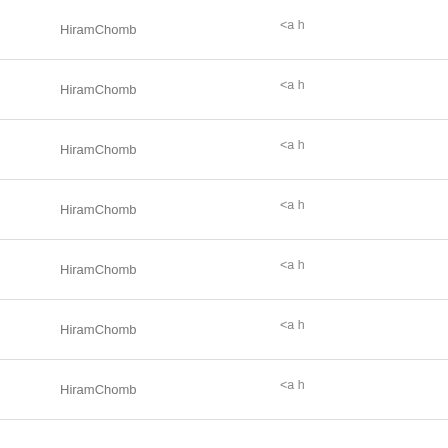| Name | Link |
| --- | --- |
| HiramChomb | <a h |
| HiramChomb | <a h |
| HiramChomb | <a h |
| HiramChomb | <a h |
| HiramChomb | <a h |
| HiramChomb | <a h |
| HiramChomb | <a h |